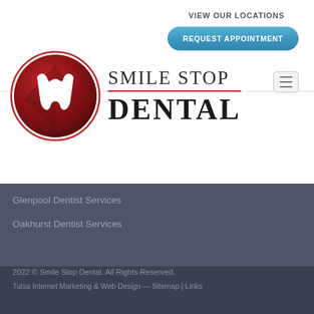VIEW OUR LOCATIONS
REQUEST APPOINTMENT
[Figure (logo): Smile Stop Dental logo: circular red emblem with white tooth outline, beside the text 'SMILE STOP DENTAL' in dark serif font]
Glenpool Dentist Services
Oakhurst Dentist Services
2022 © Smile Stop Dental. All Rights Reserved.
Tulsa Internet Marketing & Web Design — Sitemap | Links